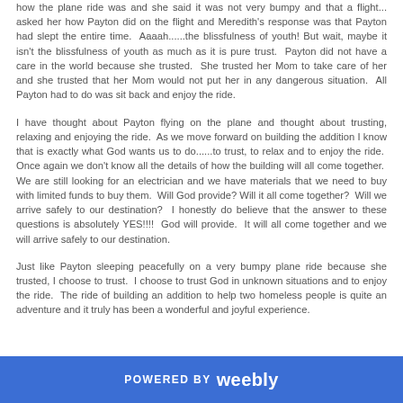how the plane ride was and she said it was not very bumpy and that a flight... asked her how Payton did on the flight and Meredith's response was that Payton had slept the entire time. Aaaah......the blissfulness of youth! But wait, maybe it isn't the blissfulness of youth as much as it is pure trust. Payton did not have a care in the world because she trusted. She trusted her Mom to take care of her and she trusted that her Mom would not put her in any dangerous situation. All Payton had to do was sit back and enjoy the ride.
I have thought about Payton flying on the plane and thought about trusting, relaxing and enjoying the ride. As we move forward on building the addition I know that is exactly what God wants us to do......to trust, to relax and to enjoy the ride. Once again we don't know all the details of how the building will all come together. We are still looking for an electrician and we have materials that we need to buy with limited funds to buy them. Will God provide? Will it all come together? Will we arrive safely to our destination? I honestly do believe that the answer to these questions is absolutely YES!!!! God will provide. It will all come together and we will arrive safely to our destination.
Just like Payton sleeping peacefully on a very bumpy plane ride because she trusted, I choose to trust. I choose to trust God in unknown situations and to enjoy the ride. The ride of building an addition to help two homeless people is quite an adventure and it truly has been a wonderful and joyful experience.
POWERED BY weebly